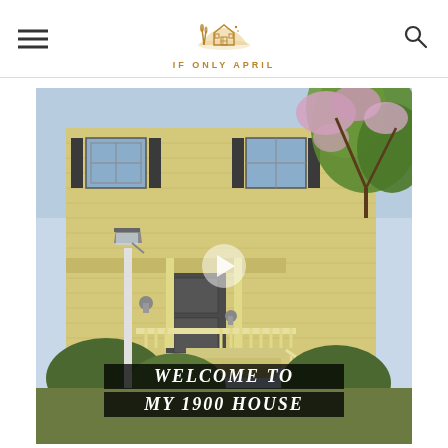IF ONLY APRIL — navigation header with logo, hamburger menu, and search icon
[Figure (photo): Exterior photo of a large yellow colonial-style house from circa 1900, with dark shutters, a covered front porch, white front steps with railings, a street lamp in the foreground, and blooming pink lilac tree branches visible in the upper right. A play button overlay is centered on the image. Text overlay at the bottom reads WELCOME TO MY 1900 HOUSE.]